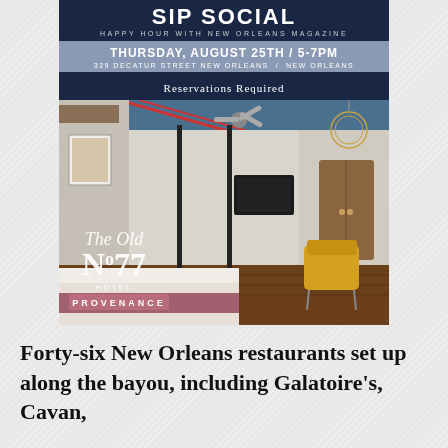[Figure (infographic): Event banner for 'SIP SOCIAL - Happy Hour with New Orleans Magazine' on Thursday, August 25th / 5-7PM at 329 Decatur Street New Orleans / New Orleans. Reservations Required. Dark navy blue background with serif and sans-serif white text.]
[Figure (photo): Interior photo of The Old No. 77 Hotel Provenance showing a hotel room with a bed, yellow chairs, ceiling fan, wood floors, and modern lighting. The hotel logo overlaid in white text reads 'The Old No. 77 Hotel Provenance'.]
Forty-six New Orleans restaurants set up along the bayou, including Galatoire's, Cavan,